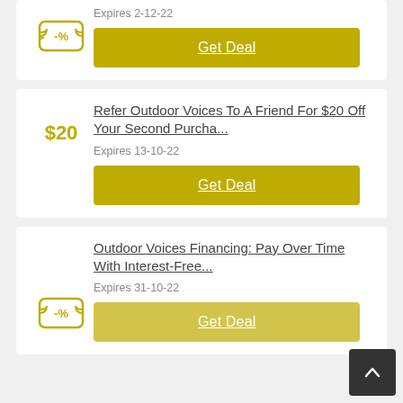Expires 2-12-22 | Get Deal
Refer Outdoor Voices To A Friend For $20 Off Your Second Purcha... | Expires 13-10-22 | Get Deal | $20
Outdoor Voices Financing: Pay Over Time With Interest-Free... | Expires 31-10-22 | Get Deal
[Figure (other): Scroll to top button — dark gray rounded square with upward chevron arrow in white]